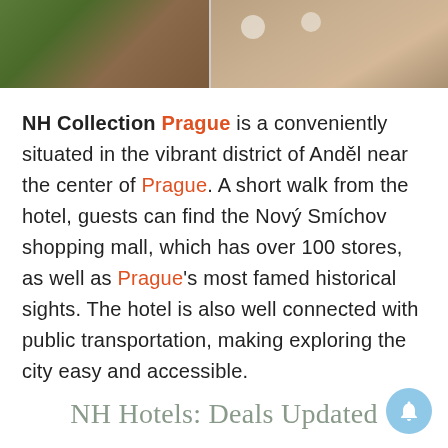[Figure (photo): Aerial/overhead photo of hotel outdoor area split into two sections: left showing greenery and garden area, right showing a curved terrace with white outdoor furniture and umbrellas.]
NH Collection Prague is a conveniently situated in the vibrant district of Anděl near the center of Prague. A short walk from the hotel, guests can find the Nový Smíchov shopping mall, which has over 100 stores, as well as Prague's most famed historical sights. The hotel is also well connected with public transportation, making exploring the city easy and accessible.
NH Hotels: Deals Updated